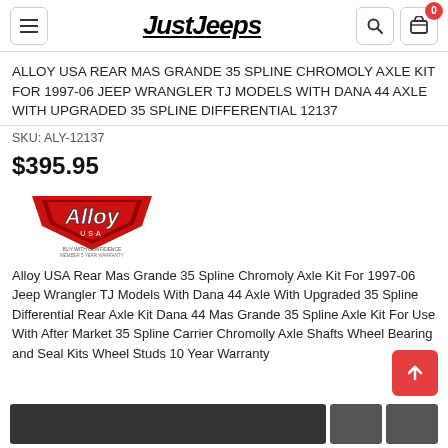JustJeeps
ALLOY USA REAR MAS GRANDE 35 SPLINE CHROMOLY AXLE KIT FOR 1997-06 JEEP WRANGLER TJ MODELS WITH DANA 44 AXLE WITH UPGRADED 35 SPLINE DIFFERENTIAL 12137
SKU: ALY-12137
$395.95
[Figure (logo): Alloy USA brand logo with red chevron/arrow design and 'BUY WITH CONFIDENCE MEMBER 5 YEAR WARRANTY' text]
Alloy USA Rear Mas Grande 35 Spline Chromoly Axle Kit For 1997-06 Jeep Wrangler TJ Models With Dana 44 Axle With Upgraded 35 Spline Differential Rear Axle Kit Dana 44 Mas Grande 35 Spline Axle Kit For Use With After Market 35 Spline Carrier Chromolly Axle Shafts Wheel Bearing and Seal Kits Wheel Studs 10 Year Warranty